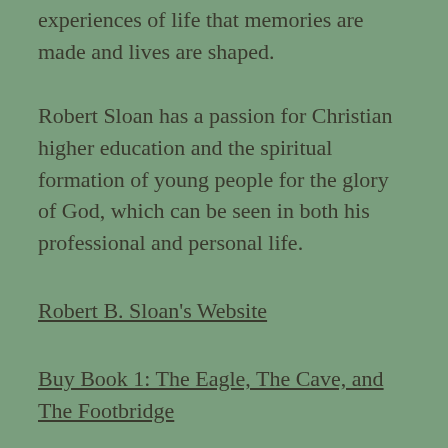experiences of life that memories are made and lives are shaped.
Robert Sloan has a passion for Christian higher education and the spiritual formation of young people for the glory of God, which can be seen in both his professional and personal life.
Robert B. Sloan's Website
Buy Book 1: The Eagle, The Cave, and The Footbridge
Buy Book 2: The Lost Princess and